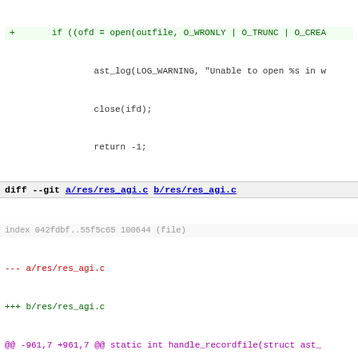top code fragment: + if ((ofd = open(outfile, O_WRONLY | O_TRUNC | O_CREA...
  ast_log(LOG_WARNING, "Unable to open %s in w...
  close(ifd);
  return -1;
diff --git a/res/res_agi.c b/res/res_agi.c
index 042fdbf..55f5c65 100644 (file)
--- a/res/res_agi.c
+++ b/res/res_agi.c
@@ -961,7 +961,7 @@ static int handle_recordfile(struct ast_...
        if (res) {
                fdprintf(agi->fd, "200 result=%d (randomerro...
        } else {
-               fs = ast_writefile(argv[2], argv[3], NULL, 0...
+               fs = ast_writefile(argv[2], argv[3], NULL, 0...
                if (!fs) {
                        res = -1;
                        fdprintf(agi->fd, "200 result=%d (wr...
diff --git a/res/res_convert.c b/res/res_convert.c
index d856c8f..628381a 100644 (file)
--- a/res/res_convert.c
+++ b/res/res_convert.c
@@ -88,7 +88,7 @@ static int cli_audio_convert(int fd, int a...
                ast_cli(fd, "'%s' is an invalid filename!\n'...
                goto fail_out;
        }
-       if (!(fs_out = ast_writefile(name_out, ext_out, NULL...
+       if (!(fs_out = ast_writefile(name_out, ext_out, NULL...
                ast_cli(fd, "Unable to open output file: %sv...
                goto fail_out;
        }